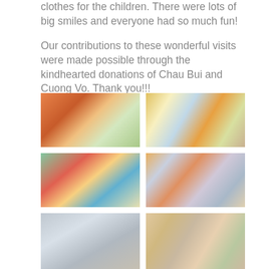clothes for the children. There were lots of big smiles and everyone had so much fun!
Our contributions to these wonderful visits were made possible through the kindhearted donations of Chau Bui and Cuong Vo. Thank you!!!
[Figure (photo): Group of children smiling outdoors, some in school uniforms]
[Figure (photo): Children receiving donations and packages]
[Figure (photo): Young children looking at books and gifts on the ground]
[Figure (photo): Many children seated in rows receiving gifts from an adult]
[Figure (photo): Building exterior with white wall and barred window]
[Figure (photo): Group of children seated outdoors looking through clothing and gifts]
[Figure (photo): Partial photo at bottom]